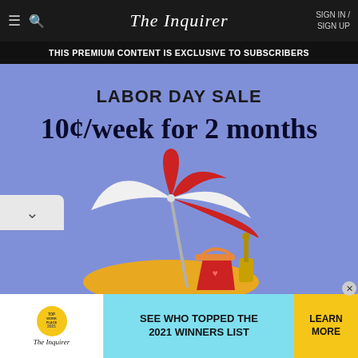The Inquirer | SIGN IN / SIGN UP
THIS PREMIUM CONTENT IS EXCLUSIVE TO SUBSCRIBERS
LABOR DAY SALE
10¢/week for 2 months
[Figure (illustration): Beach umbrella illustration with red and white striped umbrella, red bucket, and shovel on a sandy beach]
[Figure (infographic): Advertisement banner: Top Work Place 2021 badge, The Inquirer logo, SEE WHO TOPPED THE 2021 WINNERS LIST, LEARN MORE button]